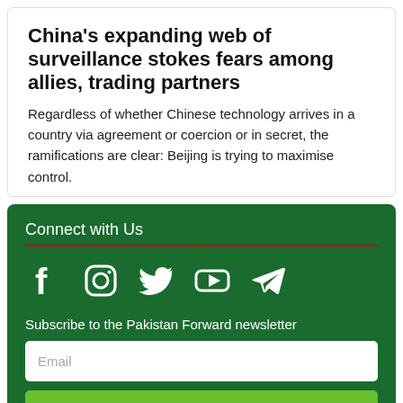China's expanding web of surveillance stokes fears among allies, trading partners
Regardless of whether Chinese technology arrives in a country via agreement or coercion or in secret, the ramifications are clear: Beijing is trying to maximise control.
Connect with Us
[Figure (infographic): Social media icons: Facebook, Instagram, Twitter, YouTube, Telegram]
Subscribe to the Pakistan Forward newsletter
Email
Subscribe